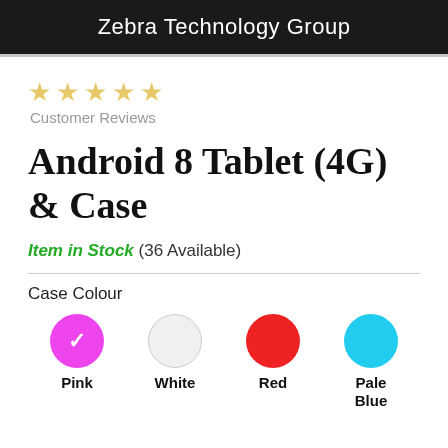Zebra Technology Group
[Figure (other): Five gold/beige star rating icons (Customer Reviews)]
Customer Reviews
Android 8 Tablet (4G) & Case
Item in Stock (36 Available)
Case Colour
[Figure (other): Four colour selector circles: Pink (selected with checkmark), White, Red, Pale Blue. Labels: Pink, White, Red, Pale Blue.]